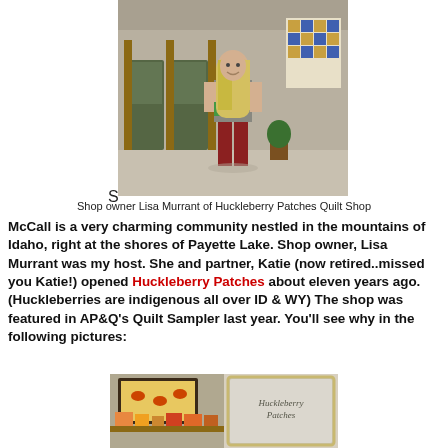[Figure (photo): Woman with long blonde hair standing outside a shop, holding something green. Shop front with wooden pillars and quilt visible in background.]
S
Shop owner Lisa Murrant of Huckleberry Patches Quilt Shop
McCall is a very charming community nestled in the mountains of Idaho, right at the shores of Payette Lake.  Shop owner, Lisa Murrant was my host.  She and partner, Katie (now retired..missed you Katie!) opened Huckleberry Patches about eleven years ago.  (Huckleberries are indigenous all over ID & WY)  The shop was featured in AP&Q's Quilt Sampler last year.  You'll see why in the following pictures:
[Figure (photo): Interior of Huckleberry Patches quilt shop showing shelves with quilts, fabrics, and craft items. A framed mirror with 'Huckleberry Patches' text is visible on the right.]